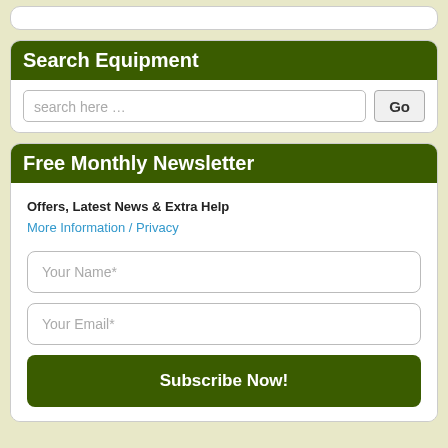Search Equipment
search here …
Free Monthly Newsletter
Offers, Latest News & Extra Help
More Information / Privacy
Your Name*
Your Email*
Subscribe Now!